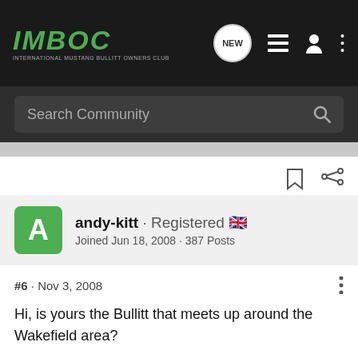IMBOC · INTERNATIONAL MUSTANG BULLITT OWNERS CLUB
Search Community
andy-kitt · Registered 🇬🇧
Joined Jun 18, 2008 · 387 Posts
#6 · Nov 3, 2008
Hi, is yours the Bullitt that meets up around the Wakefield area?
It was great to see a Bullitt in the magazine, especially after the stick i've been getting from the older folks with their 60s GT Fastbacks saying our cars don't deserve the Bullitt name.